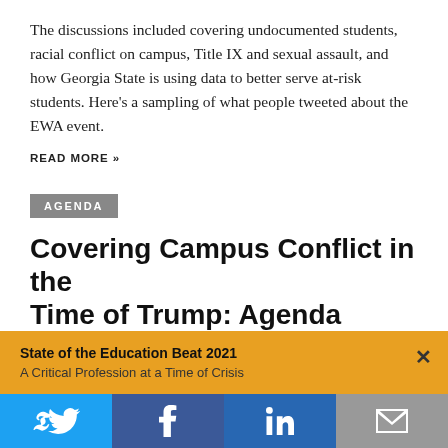The discussions included covering undocumented students, racial conflict on campus, Title IX and sexual assault, and how Georgia State is using data to better serve at-risk students. Here’s a sampling of what people tweeted about the EWA event.
READ MORE »
AGENDA
Covering Campus Conflict in the Time of Trump: Agenda
Atlanta • October 2–3, 2017
State of the Education Beat 2021
A Critical Profession at a Time of Crisis